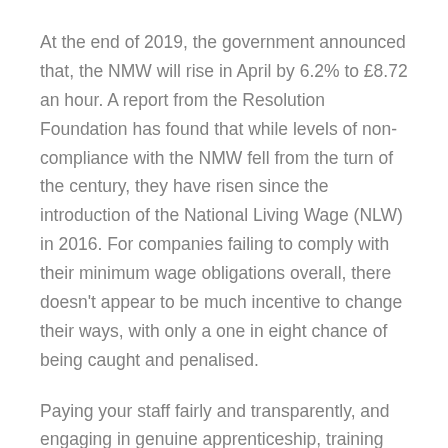At the end of 2019, the government announced that, the NMW will rise in April by 6.2% to £8.72 an hour. A report from the Resolution Foundation has found that while levels of non-compliance with the NMW fell from the turn of the century, they have risen since the introduction of the National Living Wage (NLW) in 2016. For companies failing to comply with their minimum wage obligations overall, there doesn't appear to be much incentive to change their ways, with only a one in eight chance of being caught and penalised.
Paying your staff fairly and transparently, and engaging in genuine apprenticeship, training and development practices, is a key element in maintaining staff loyalty, productive recruitment and brand reputation.